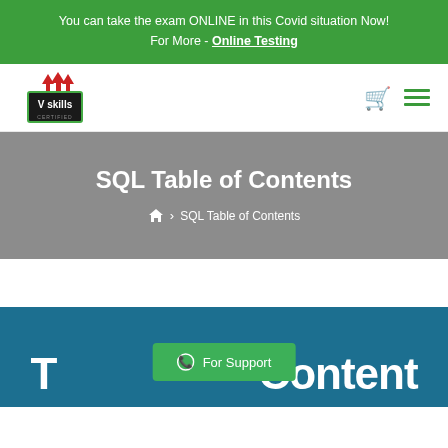You can take the exam ONLINE in this Covid situation Now! For More - Online Testing
[Figure (logo): Vskills Certified logo with red upward arrows]
SQL Table of Contents
Home > SQL Table of Contents
T Content (partial, cut off) - For Support button
For Support